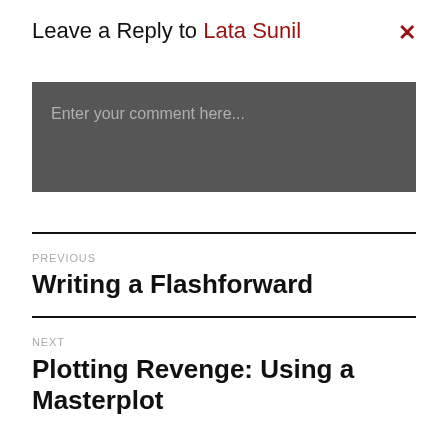Leave a Reply to Lata Sunil
Enter your comment here...
PREVIOUS
Writing a Flashforward
NEXT
Plotting Revenge: Using a Masterplot